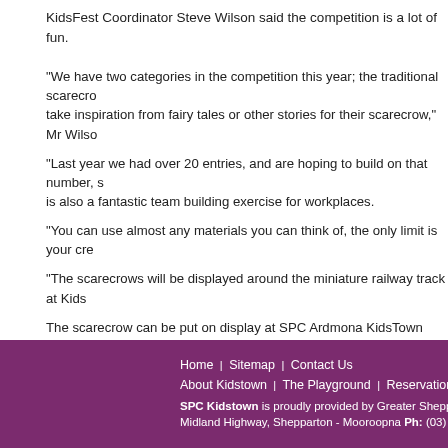KidsFest Coordinator Steve Wilson said the competition is a lot of fun.
"We have two categories in the competition this year; the traditional scarecrow and a storybook category where competitors take inspiration from fairy tales or other stories for their scarecrow," Mr Wilson said.
"Last year we had over 20 entries, and are hoping to build on that number, so get those creative juices flowing! It is also a fantastic team building exercise for workplaces.
"You can use almost any materials you can think of, the only limit is your creativity!
"The scarecrows will be displayed around the miniature railway track at KidsFest.
The scarecrow can be put on display at SPC Ardmona KidsTown from Tuesday after KidsFest and can remain on display for three months.
Tips & hints and entry forms are available from the KidsFest website http://w...
KidsFest 2010 will be held on Friday 1 and Saturday 2 October 2010.
Home | Sitemap | Contact Us | About Kidstown | The Playground | Reservations & Bookings | Suppo... SPC Kidstown is proudly provided by Greater Shepparton City Council Midland Highway, Shepparton - Mooroopna Ph: (03) 5831 4213 Fax: (0...